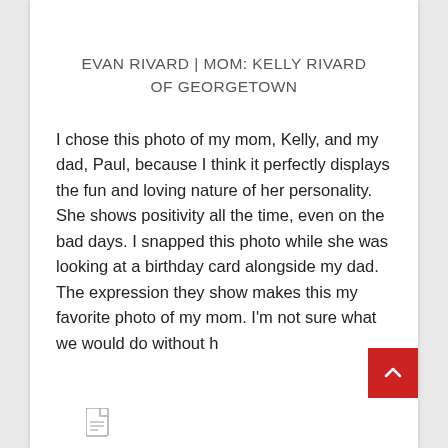EVAN RIVARD | MOM: KELLY RIVARD OF GEORGETOWN
I chose this photo of my mom, Kelly, and my dad, Paul, because I think it perfectly displays the fun and loving nature of her personality. She shows positivity all the time, even on the bad days. I snapped this photo while she was looking at a birthday card alongside my dad. The expression they show makes this my favorite photo of my mom. I'm not sure what we would do without h